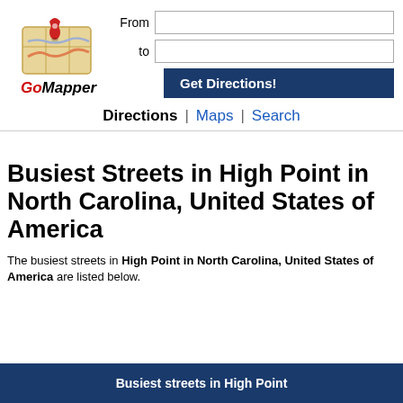[Figure (logo): GoMapper logo with red map pin over a folded map graphic, text reads 'GoMapper']
Directions | Maps | Search
Busiest Streets in High Point in North Carolina, United States of America
The busiest streets in High Point in North Carolina, United States of America are listed below.
Busiest streets in High Point